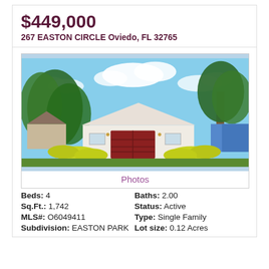$449,000
267 EASTON CIRCLE Oviedo, FL 32765
[Figure (photo): Exterior front view of a single-family home at 267 Easton Circle, Oviedo FL. White stucco house with dark red/maroon double garage door, lush green trees and yellow-green shrubs lining the driveway, blue sky with clouds.]
Photos
Beds: 4   Baths: 2.00
Sq.Ft.: 1,742   Status: Active
MLS#: O6049411   Type: Single Family
Subdivision: EASTON PARK   Lot size: 0.12 Acres